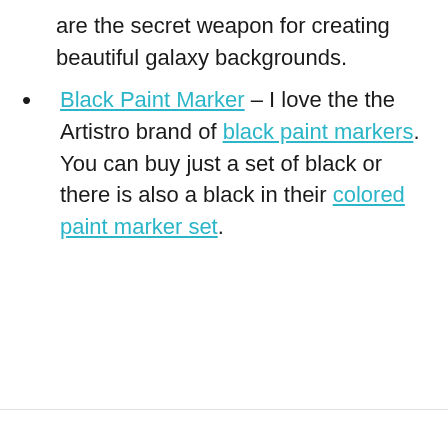are the secret weapon for creating beautiful galaxy backgrounds.
Black Paint Marker – I love the the Artistro brand of black paint markers. You can buy just a set of black or there is also a black in their colored paint marker set.